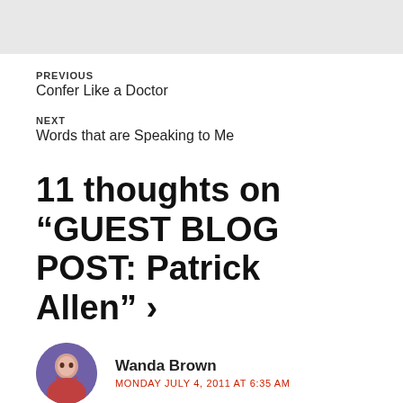PREVIOUS
Confer Like a Doctor
NEXT
Words that are Speaking to Me
11 thoughts on “GUEST BLOG POST: Patrick Allen” ›
Wanda Brown
MONDAY JULY 4, 2011 AT 6:35 AM
What a tribute to a friend, mentor, and fellow writer. I cannot think of a great gift…